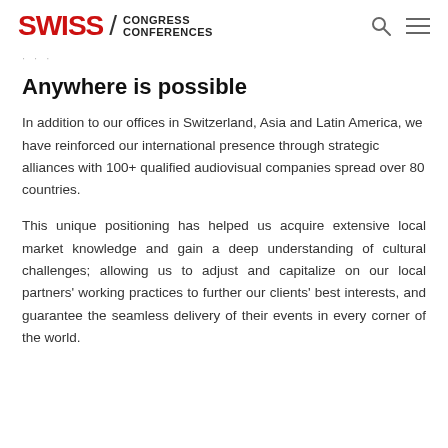SWISS / CONGRESS CONFERENCES
Anywhere is possible
In addition to our offices in Switzerland, Asia and Latin America, we have reinforced our international presence through strategic alliances with 100+ qualified audiovisual companies spread over 80 countries.
This unique positioning has helped us acquire extensive local market knowledge and gain a deep understanding of cultural challenges; allowing us to adjust and capitalize on our local partners' working practices to further our clients' best interests, and guarantee the seamless delivery of their events in every corner of the world.